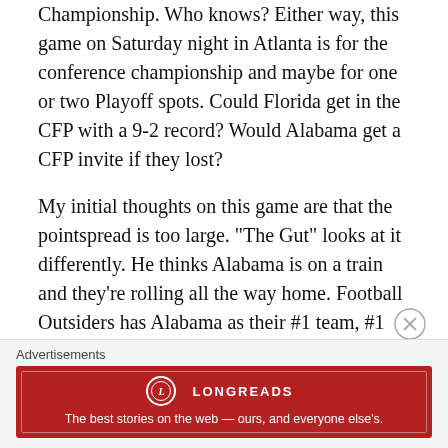Championship. Who knows? Either way, this game on Saturday night in Atlanta is for the conference championship and maybe for one or two Playoff spots. Could Florida get in the CFP with a 9-2 record? Would Alabama get a CFP invite if they lost?
My initial thoughts on this game are that the pointspread is too large. "The Gut" looks at it differently. He thinks Alabama is on a train and they're rolling all the way home. Football Outsiders has Alabama as their #1 team, #1 offense, and #11 defense. They have Florida as their #12 overall team, #6 offense, and #44 defense. What do we see with those numbers? We see two great offenses, but only one great defense. "The Gut" thinks Florida's mediocre
Advertisements
[Figure (other): Longreads advertisement banner. Red background with Longreads logo and text: 'The best stories on the web — ours, and everyone else's.']